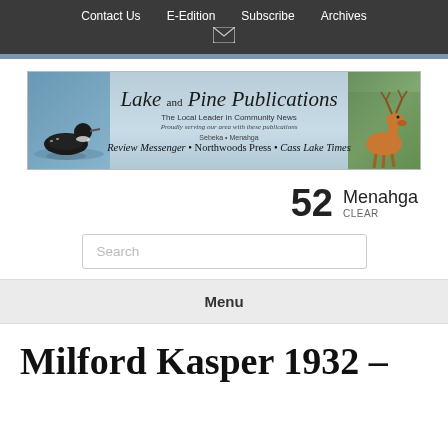Contact Us   E-Edition   Subscribe   Archives
[Figure (logo): Lake and Pine Publications banner logo with loon on water left side, deer right side. Text: Lake and Pine Publications, The Local Leader in Community News, Proudly serving our area with these publications, Sebeka • Menahga, Review Messenger • Northwoods Press • Cass Lake Times]
52  Menahga  CLEAR
Search
Menu
Milford Kasper 1932 –